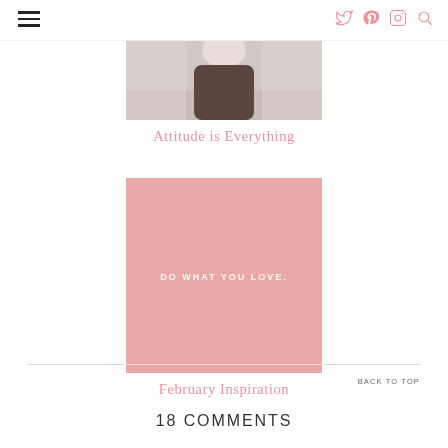[Figure (photo): Hamburger/menu icon (three horizontal lines) in dark/black color in the top left of the page header]
[Figure (other): Social media and search icons (Twitter bird, Pinterest P, Instagram camera, magnifying glass) in pink color in the top right of the page header]
[Figure (photo): Partial photograph of a person outdoors, showing torso area with soft bokeh background]
Attitude is Everything
[Figure (illustration): Pink/salmon-colored square image with white text reading 'DO WHAT YOU LOVE.']
February Inspiration
BACK TO TOP
18 COMMENTS